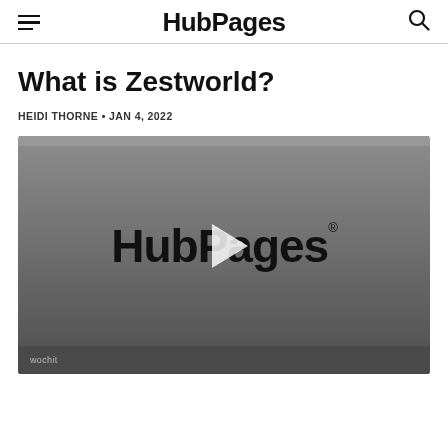HubPages
What is Zestworld?
HEIDI THORNE • JAN 4, 2022
[Figure (screenshot): Video thumbnail with title 'Welcome to HubPages', showing the HubPages logo with a play button overlay on a grey background, and a 'wochit' watermark in the lower left.]